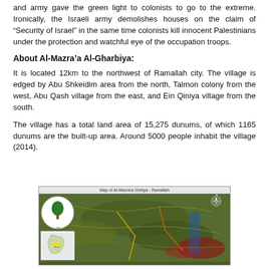and army gave the green light to colonists to go to the extreme. Ironically, the Israeli army demolishes houses on the claim of “Security of Israel” in the same time colonists kill innocent Palestinians under the protection and watchful eye of the occupation troops.
About Al-Mazra’a Al-Gharbiya:
It is located 12km to the northwest of Ramallah city. The village is edged by Abu Shkeidim area from the north, Talmon colony from the west, Abu Qash village from the east, and Ein Qiniya village from the south.
The village has a total land area of 15,275 dunums, of which 1165 dunums are the built-up area. Around 5000 people inhabit the village (2014).
[Figure (map): Map of Al-Mazra’a Al-Gharbiya showing satellite terrain view of the village and surrounding area with logo inset and regional location inset.]